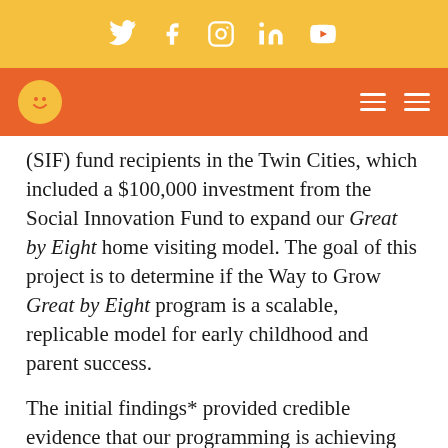Social media icons: Twitter, Facebook, Instagram, LinkedIn, YouTube
[Figure (logo): Orange navigation bar with yellow smiley face logo on left and hamburger menu icons on right]
(SIF) fund recipients in the Twin Cities, which included a $100,000 investment from the Social Innovation Fund to expand our Great by Eight home visiting model. The goal of this project is to determine if the Way to Grow Great by Eight program is a scalable, replicable model for early childhood and parent success.
The initial findings* provided credible evidence that our programming is achieving our stated impact, improving parent engagement, school readiness and academic proficiency among participating students.